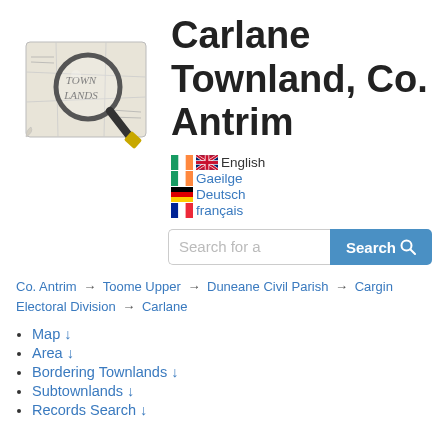[Figure (logo): Townlands logo: a magnifying glass over an old map with text TOWN LANDS]
Carlane Townland, Co. Antrim
English
Gaeilge
Deutsch
français
Search for a [Search]
Co. Antrim → Toome Upper → Duneane Civil Parish → Cargin Electoral Division → Carlane
Map ↓
Area ↓
Bordering Townlands ↓
Subtownlands ↓
Records Search ↓